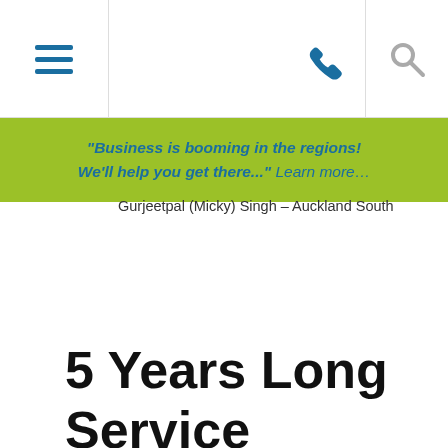Navigation bar with hamburger menu, phone icon, and search icon
“Business is booming in the regions! We’ll help you get there...” Learn more…
Gurjeetpal (Micky) Singh – Auckland South
5 Years Long Service